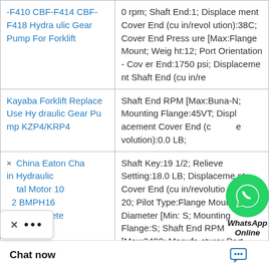| Product | Specifications |
| --- | --- |
| -F410 CBF-F414 CBF-F418 Hydraulic Gear Pump For Forklift | 0 rpm; Shaft End:1; Displacement Cover End (cu in/revolution):38C; Cover End Pressure [Max:Flange Mount; Weight:12; Port Orientation - Cover End:1750 psi; Displacement Shaft End (cu in/re |
| Kayaba Forklift Replace Use Hydraulic Gear Pump KZP4/KRP4 | Shaft End RPM [Max:Buna-N; Mounting Flange:45VT; Displacement Cover End (cu in/revolution):0.0 LB; |
| China Eaton Char... n Hydraulic ...tal Motor 10 2 BMPH160 for Concrete | Shaft Key:19 1/2; Relief Valve Setting:18.0 LB; Displacement Cover End (cu in/revolution):SAE-20; Pilot Type:Flange Mount; Minor Diameter [Min:S; Mounting Flange:S; Shaft End RPM [Max:2400; Manufacturer Part No.:V20; Port Siz...0; Pressure Port Si...nd:Buna-N; Press |
[Figure (logo): WhatsApp green circle logo with phone icon, with 'WhatsApp Online' label in bold italic]
Chat now